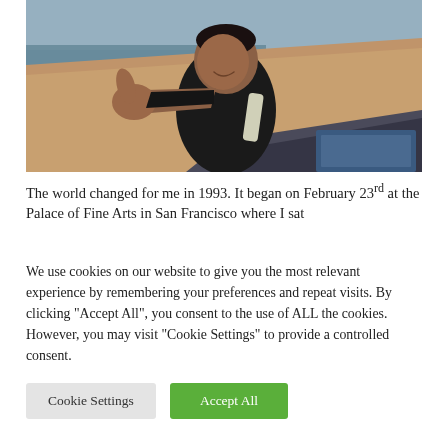[Figure (photo): A man standing outdoors near a beach, extending his arm toward the camera with a thumbs-up gesture, smiling. He is wearing a dark jacket with a light scarf. The background shows a sandy beach, ocean water, and overcast sky.]
The world changed for me in 1993. It began on February 23rd at the Palace of Fine Arts in San Francisco where I sat
We use cookies on our website to give you the most relevant experience by remembering your preferences and repeat visits. By clicking "Accept All", you consent to the use of ALL the cookies. However, you may visit "Cookie Settings" to provide a controlled consent.
Cookie Settings
Accept All